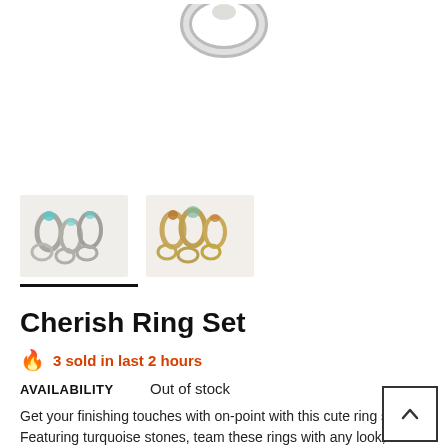[Figure (photo): Main product image of Cherish Ring Set shown at top of page, partially cropped]
[Figure (photo): Two thumbnail images of the Cherish Ring Set - left shows rings with blue/turquoise stones in silver, right shows rings with warm-toned stones in gold]
Cherish Ring Set
🔥 3 sold in last 2 hours
AVAILABILITY    Out of stock
Get your finishing touches with on-point with this cute ring set. Featuring turquoise stones, team these rings with any look, casual or going out.